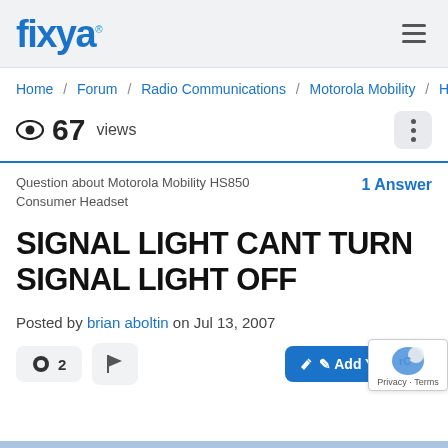fixya
Home / Forum / Radio Communications / Motorola Mobility / ...
67 views
Question about Motorola Mobility HS850 Consumer Headset — 1 Answer
SIGNAL LIGHT CANT TURN SIGNAL LIGHT OFF
Posted by brian aboltin on Jul 13, 2007
2  [flag]  Add Your Answer